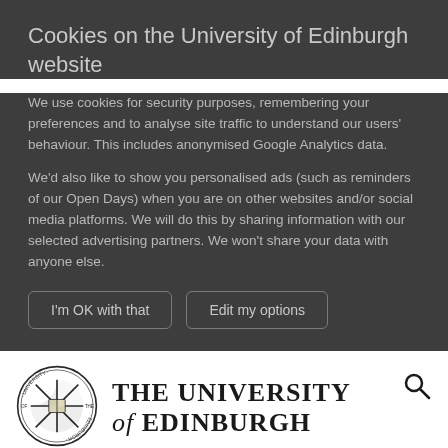Cookies on the University of Edinburgh website
We use cookies for security purposes, remembering your preferences and to analyse site traffic to understand our users' behaviour. This includes anonymised Google Analytics data.
We'd also like to show you personalised ads (such as reminders of our Open Days) when you are on other websites and/or social media platforms. We will do this by sharing information with our selected advertising partners. We won't share your data with anyone else.
I'm OK with that | Edit my options
[Figure (logo): University of Edinburgh crest/shield logo — circular seal with cross and book motif]
THE UNIVERSITY of EDINBURGH
Schools & departments   MyEd